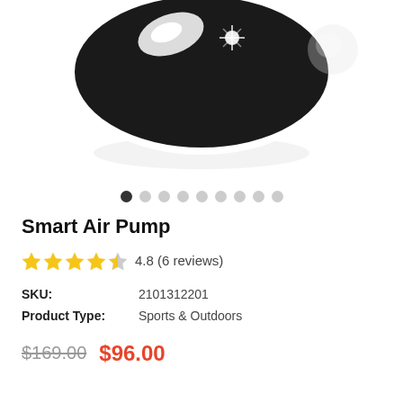[Figure (photo): Product photo of a Smart Air Pump, dark-colored round device with shiny surface on white background]
Smart Air Pump
4.8 (6 reviews)
| SKU: | 2101312201 |
| Product Type: | Sports & Outdoors |
$169.00  $96.00